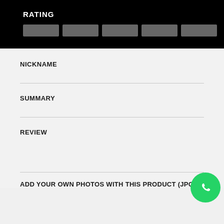RATING
[Figure (other): Five star rating button placeholders (gray rectangles) for selecting a star rating]
NICKNAME
SUMMARY
REVIEW
[Figure (other): WhatsApp icon button in green circle at bottom right corner]
ADD YOUR OWN PHOTOS WITH THIS PRODUCT (JPG,